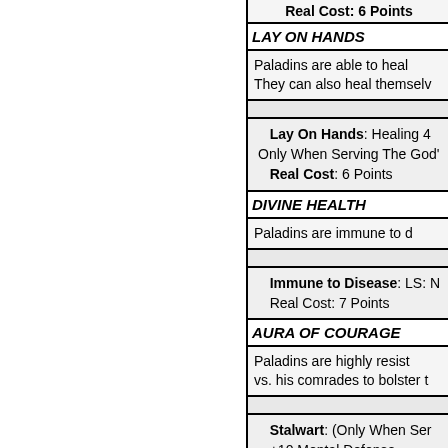Real Cost: 6 Points
LAY ON HANDS
Paladins are able to heal... They can also heal themselves...
Lay On Hands: Healing 4... Only When Serving The God'...
Real Cost: 6 Points
DIVINE HEALTH
Paladins are immune to d...
Immune to Disease: LS: N... Real Cost: 7 Points
AURA OF COURAGE
Paladins are highly resist... vs. his comrades to bolster t...
Stalwart: (Only When Ser... +10 Mental Defense +10 Power Defense